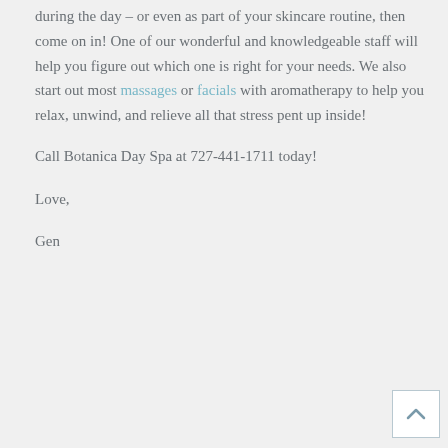during the day – or even as part of your skincare routine, then come on in! One of our wonderful and knowledgeable staff will help you figure out which one is right for your needs. We also start out most massages or facials with aromatherapy to help you relax, unwind, and relieve all that stress pent up inside!
Call Botanica Day Spa at 727-441-1711 today!
Love,
Gen
[Figure (other): Back to top button with upward chevron arrow icon]